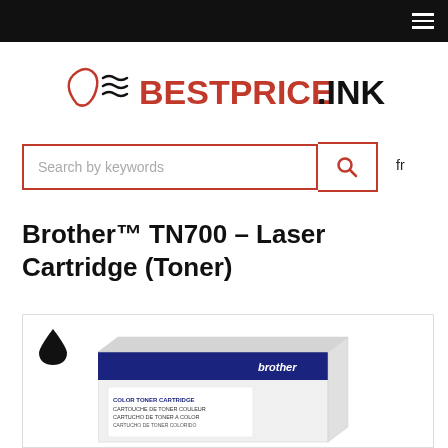BESTPRICE.INK navigation bar with hamburger menu
[Figure (logo): BestPrice.INK logo with red ink drop and wave marks and bold red/black text]
Search by keywords   fr
Brother™ TN700 – Laser Cartridge (Toner)
[Figure (photo): Brother TN700 color toner cartridge box product photo with black ink drop icon in top-left corner]